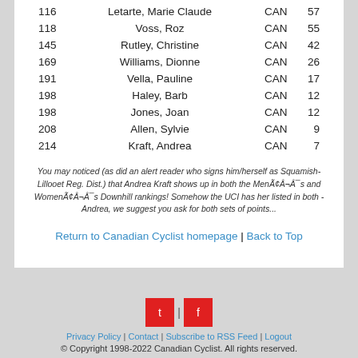| Rank | Name | Nat | Pts |
| --- | --- | --- | --- |
| 116 | Letarte, Marie Claude | CAN | 57 |
| 118 | Voss, Roz | CAN | 55 |
| 145 | Rutley, Christine | CAN | 42 |
| 169 | Williams, Dionne | CAN | 26 |
| 191 | Vella, Pauline | CAN | 17 |
| 198 | Haley, Barb | CAN | 12 |
| 198 | Jones, Joan | CAN | 12 |
| 208 | Allen, Sylvie | CAN | 9 |
| 214 | Kraft, Andrea | CAN | 7 |
You may noticed (as did an alert reader who signs him/herself as Squamish-Lillooet Reg. Dist.) that Andrea Kraft shows up in both the MenÃ¢Â¬Â¯s and WomenÃ¢Â¬Â¯s Downhill rankings! Somehow the UCI has her listed in both - Andrea, we suggest you ask for both sets of points...
Return to Canadian Cyclist homepage | Back to Top
Privacy Policy | Contact | Subscribe to RSS Feed | Logout
© Copyright 1998-2022 Canadian Cyclist. All rights reserved.